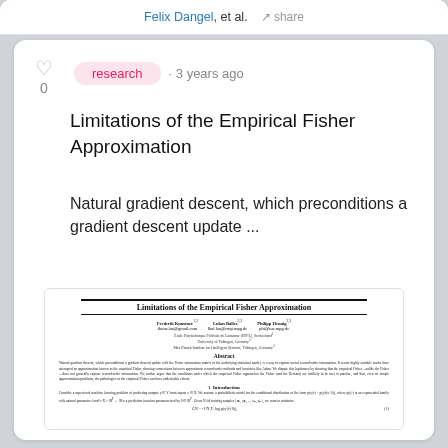Felix Dangel, et al. · share
research · 3 years ago
Limitations of the Empirical Fisher Approximation
Natural gradient descent, which preconditions a gradient descent update ...
[Figure (other): Thumbnail of the paper 'Limitations of the Empirical Fisher Approximation' showing title, authors (Frederik Kunstner, Lukas Balles, Philipp Hennig), affiliations (École Polytechnique Fédérale de Lausanne, University of Tübingen, Max Planck Institute), abstract, and beginning of introduction section.]